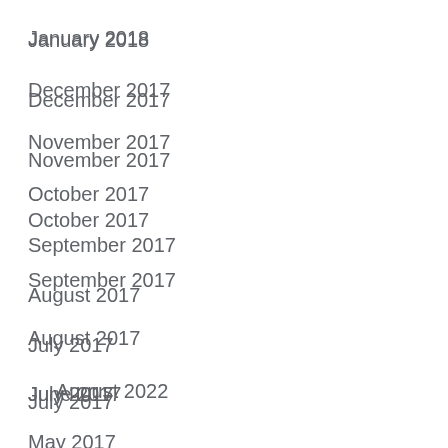January 2018
December 2017
November 2017
October 2017
September 2017
August 2017
July 2017
June 2017
May 2017
August 2022